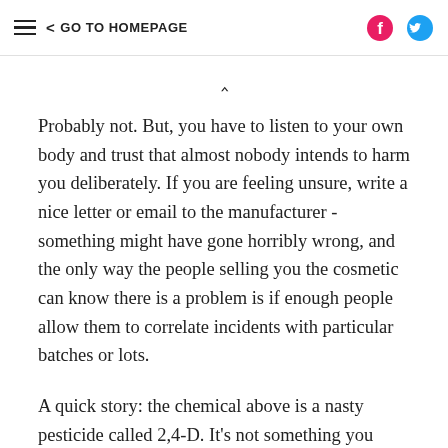≡  < GO TO HOMEPAGE
Probably not. But, you have to listen to your own body and trust that almost nobody intends to harm you deliberately. If you are feeling unsure, write a nice letter or email to the manufacturer - something might have gone horribly wrong, and the only way the people selling you the cosmetic can know there is a problem is if enough people allow them to correlate incidents with particular batches or lots.
A quick story: the chemical above is a nasty pesticide called 2,4-D. It's not something you would leave out next to the pet dish - it's a poison, but at low levels it